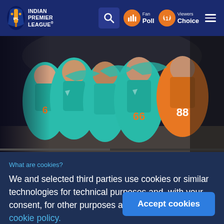INDIAN PREMIER LEAGUE
[Figure (photo): Cricket players in teal and orange jerseys (numbers 66 and 88 visible) celebrating together, hugging in a group]
What are cookies?
We and selected third parties use cookies or similar technologies for technical purposes and, with your consent, for other purposes as specified in the cookie policy.